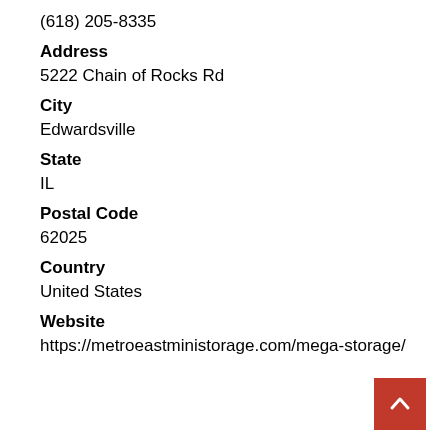(618) 205-8335
Address
5222 Chain of Rocks Rd
City
Edwardsville
State
IL
Postal Code
62025
Country
United States
Website
https://metroeastministorage.com/mega-storage/